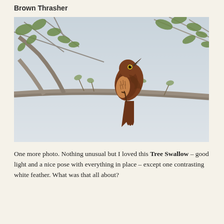Brown Thrasher
[Figure (photo): A Brown Thrasher bird perched on a bare branch with green leaves visible, beak open, photographed against a pale grey sky.]
One more photo. Nothing unusual but I loved this Tree Swallow – good light and a nice pose with everything in place – except one contrasting white feather. What was that all about?